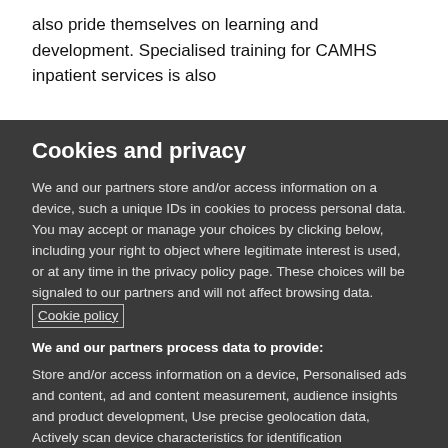also pride themselves on learning and development. Specialised training for CAMHS inpatient services is also
Cookies and privacy
We and our partners store and/or access information on a device, such a unique IDs in cookies to process personal data. You may accept or manage your choices by clicking below, including your right to object where legitimate interest is used, or at any time in the privacy policy page. These choices will be signaled to our partners and will not affect browsing data. Cookie policy
We and our partners process data to provide:
Store and/or access information on a device, Personalised ads and content, ad and content measurement, audience insights and product development, Use precise geolocation data, Actively scan device characteristics for identification
List of Partners (vendors)
I Accept